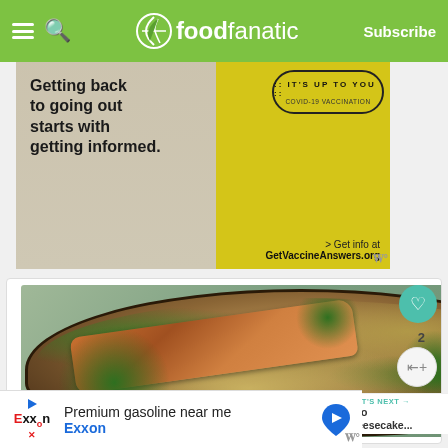foodfanatic — Subscribe
[Figure (photo): Advertisement: Getting back to going out starts with getting informed. IT'S UP TO YOU COVID-19 VACCINATION. Get info at GetVaccineAnswers.org]
[Figure (photo): Food photo showing a bowl of pasta with chicken and asparagus in a dark skillet]
WHAT'S NEXT → Oreo Cheesecake...
[Figure (photo): Bottom advertisement: Premium gasoline near me — Exxon (with Exxon logo and map navigation icon)]